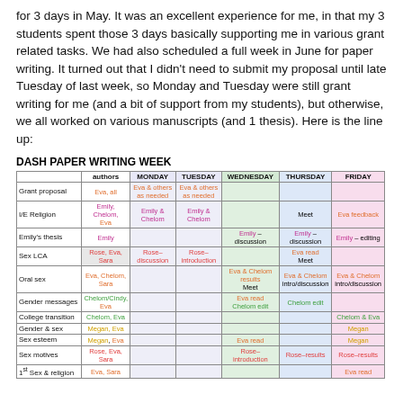for 3 days in May. It was an excellent experience for me, in that my 3 students spent those 3 days basically supporting me in various grant related tasks. We had also scheduled a full week in June for paper writing. It turned out that I didn't need to submit my proposal until late Tuesday of last week, so Monday and Tuesday were still grant writing for me (and a bit of support from my students), but otherwise, we all worked on various manuscripts (and 1 thesis). Here is the line up:
DASH PAPER WRITING WEEK
|  | authors | MONDAY | TUESDAY | WEDNESDAY | THURSDAY | FRIDAY |
| --- | --- | --- | --- | --- | --- | --- |
| Grant proposal | Eva, all | Eva & others as needed | Eva & others as needed |  |  |  |
| I/E Religion | Emily, Chelom, Eva | Emily & Chelom | Emily & Chelom |  | Meet | Eva feedback |
| Emily's thesis | Emily |  |  | Emily – discussion | Emily – discussion | Emily – editing |
| Sex LCA | Rose, Eva, Sara | Rose– discussion | Rose– introduction |  | Eva read Meet |  |
| Oral sex | Eva, Chelom, Sara |  |  | Eva & Chelom results Meet | Eva & Chelom intro/discussion | Eva & Chelom intro/discussion |
| Gender messages | Chelom/Cindy, Eva |  |  | Eva read Chelom edit | Chelom edit |  |
| College transition | Chelom, Eva |  |  |  |  | Chelom & Eva |
| Gender & sex | Megan, Eva |  |  |  |  | Megan |
| Sex esteem | Megan, Eva |  |  | Eva read |  | Megan |
| Sex motives | Rose, Eva, Sara |  |  | Rose–introduction | Rose–results | Rose–results |
| 1st Sex & religion | Eva, Sara |  |  |  |  | Eva read |